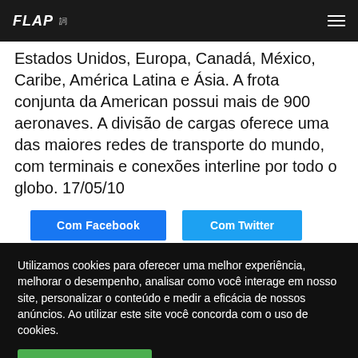FLAP
Estados Unidos, Europa, Canadá, México, Caribe, América Latina e Ásia. A frota conjunta da American possui mais de 900 aeronaves. A divisão de cargas oferece uma das maiores redes de transporte do mundo, com terminais e conexões interline por todo o globo. 17/05/10
[Figure (screenshot): Two social share buttons: blue Facebook button and blue Twitter button, partially visible]
Utilizamos cookies para oferecer uma melhor experiência, melhorar o desempenho, analisar como você interage em nosso site, personalizar o conteúdo e medir a eficácia de nossos anúncios. Ao utilizar este site você concorda com o uso de cookies.
Aceitar